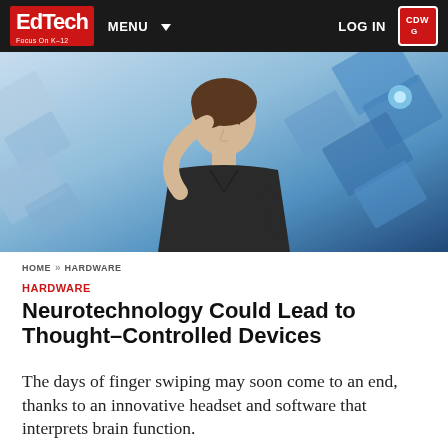EdTech Focus On K-12 | MENU | LOG IN | CDWG
[Figure (photo): Young man in dark t-shirt with eyes closed, touching his temple with one finger, against a background of glowing blue digital squares and panels suggesting brain-computer interface or neurotechnology.]
HOME >> HARDWARE
HARDWARE
Neurotechnology Could Lead to Thought–Controlled Devices
The days of finger swiping may soon come to an end, thanks to an innovative headset and software that interprets brain function.